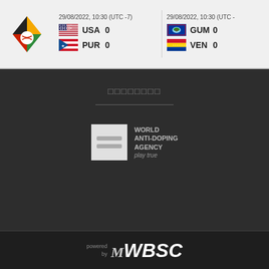[Figure (logo): Baseball tournament logo with colorful triangles and baseball]
29/08/2022, 10:30 (UTC -7)
USA  0
PUR  0
29/08/2022, 10:30 (UTC -)
GUM  0
VEN  0
□□□□□□□□
[Figure (logo): World Anti-Doping Agency logo with WADA text and play true tagline]
powered by MyWBSC